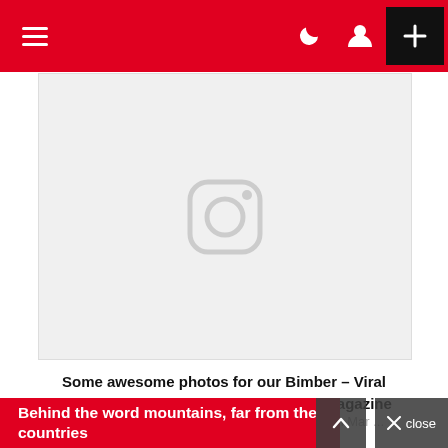Navigation bar with hamburger menu, dark mode icon, user icon, and plus button
[Figure (screenshot): Instagram embed placeholder showing the Instagram camera logo icon on a light gray background]
Some awesome photos for our Bimber – Viral Magazine Theme #viral #WordPress #magazine #theme
A post shared by Bring The Pixel (@bringthepixel) on Mar ...
Behind the word mountains, far from the countries